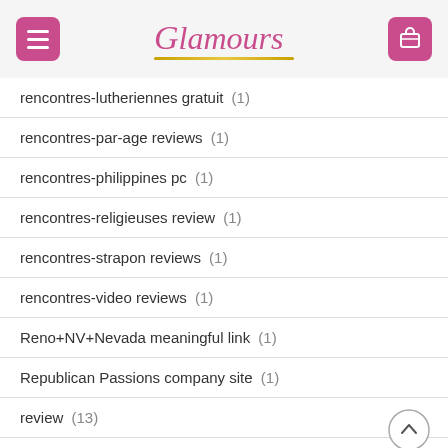Glamours
rencontres-lutheriennes gratuit (1)
rencontres-par-age reviews (1)
rencontres-philippines pc (1)
rencontres-religieuses review (1)
rencontres-strapon reviews (1)
rencontres-video reviews (1)
Reno+NV+Nevada meaningful link (1)
Republican Passions company site (1)
review (13)
reviews (4)